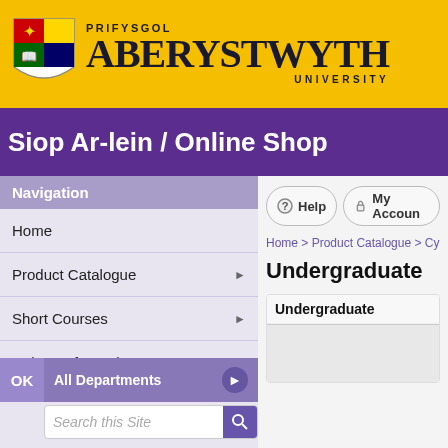[Figure (logo): Aberystwyth University logo with shield and text: PRIFYSGOL ABERYSTWYTH UNIVERSITY on yellow background]
Siop Ar-lein / Online Shop
Navigation
Home
Product Catalogue
Short Courses
Help & Information
All Departments
Search this Site
? Help  My Account
Home > Product Catalogue > Cy
Undergraduate
Undergraduate